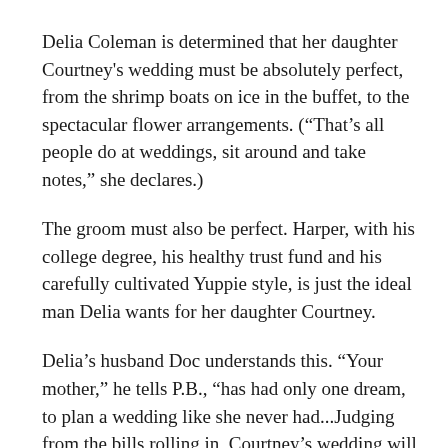Delia Coleman is determined that her daughter Courtney's wedding must be absolutely perfect, from the shrimp boats on ice in the buffet, to the spectacular flower arrangements. (“That’s all people do at weddings, sit around and take notes,” she declares.)
The groom must also be perfect. Harper, with his college degree, his healthy trust fund and his carefully cultivated Yuppie style, is just the ideal man Delia wants for her daughter Courtney.
Delia’s husband Doc understands this. “Your mother,” he tells P.B., “has had only one dream, to plan a wedding like she never had...Judging from the bills rolling in, Courtney’s wedding will be perfect.” And Doc will be right there to help see it is.
Courtney, the bride, once dreamed of being a writer, and for three years lived a Bohemian lifestyle. Now as she plans an ordered and predictable future, where being contented is better than being passionate, she seems to have ‘settled.’